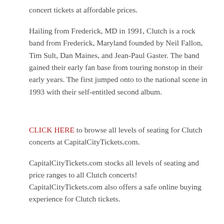concert tickets at affordable prices.
Hailing from Frederick, MD in 1991, Clutch is a rock band from Frederick, Maryland founded by Neil Fallon, Tim Sult, Dan Maines, and Jean-Paul Gaster. The band gained their early fan base from touring nonstop in their early years. The first jumped onto to the national scene in 1993 with their self-entitled second album.
CLICK HERE to browse all levels of seating for Clutch concerts at CapitalCityTickets.com.
CapitalCityTickets.com stocks all levels of seating and price ranges to all Clutch concerts! CapitalCityTickets.com also offers a safe online buying experience for Clutch tickets.